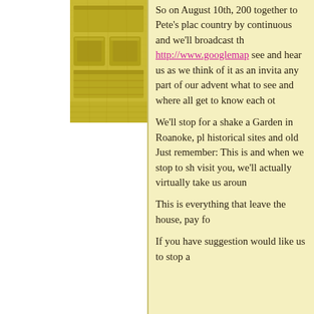[Figure (photo): A yellowish-green photo of what appears to be a building or vehicle, with rectangular panels, rendered in yellow-olive tones.]
So on August 10th, 200 together to Pete's plac country by continuous and we'll broadcast th http://www.googlemap see and hear us as we think of it as an invita any part of our advent what to see and where all get to know each ot
We'll stop for a shake a Garden in Roanoke, pl historical sites and old Just remember: This is and when we stop to s visit you, we'll actually virtually take us aroun
This is everything that leave the house, pay fo
If you have suggestion would like us to stop a